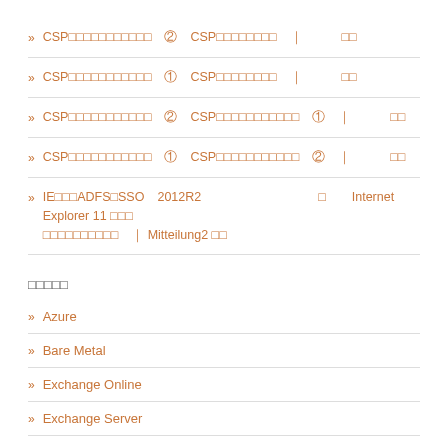» CSP□□□□□□□□□□□ ② CSP□□□□□□□□ | □□
» CSP□□□□□□□□□□□ ① CSP□□□□□□□□ | □□
» CSP□□□□□□□□□□□ ② CSP□□□□□□□□□□□ ① | □□
» CSP□□□□□□□□□□□ ① CSP□□□□□□□□□□□ ② | □□
» IE□□□ADFS□SSO 2012R2 □ Internet Explorer 11 □□□ □□□□□□□□□□ | Mitteilung2 □□
□□□□□
» Azure
» Bare Metal
» Exchange Online
» Exchange Server
» Lync Online
» Office ProPlus